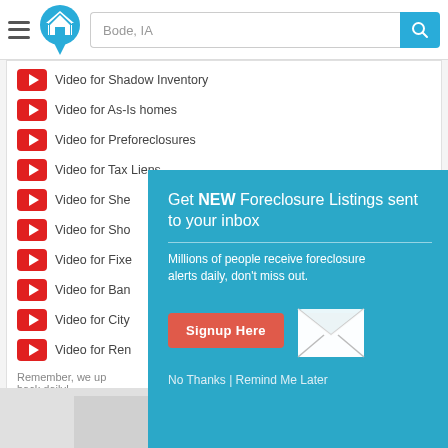[Figure (screenshot): App header bar with hamburger menu, house logo icon, search field showing 'Bode, IA', and teal search button with magnifying glass icon]
Video for Shadow Inventory
Video for As-Is homes
Video for Preforeclosures
Video for Tax Liens
Video for She[riff Sales]
Video for Sho[rt Sales]
Video for Fixe[r Uppers]
Video for Ban[k Owned]
Video for City[...]
Video for Ren[tals]
Remember, we upd[ate] back daily!
[Figure (screenshot): Popup overlay on teal background: 'Get NEW Foreclosure Listings sent to your inbox' with subtitle 'Millions of people receive foreclosure alerts daily, don't miss out.' A red 'Signup Here' button with envelope icon, and 'No Thanks | Remind Me Later' link below.]